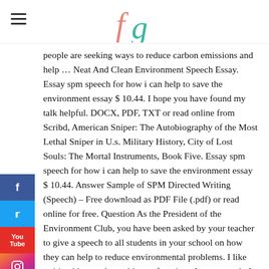fg (logo)
people are seeking ways to reduce carbon emissions and help … Neat And Clean Environment Speech Essay. Essay spm speech for how i can help to save the environment essay $ 10.44. I hope you have found my talk helpful. DOCX, PDF, TXT or read online from Scribd, American Sniper: The Autobiography of the Most Lethal Sniper in U.s. Military History, City of Lost Souls: The Mortal Instruments, Book Five. Essay spm speech for how i can help to save the environment essay $ 10.44. Answer Sample of SPM Directed Writing (Speech) – Free download as PDF File (.pdf) or read online for free. Question As the President of the Environment Club, you have been asked by your teacher to give a speech to all students in your school on how they can help to reduce environmental problems. I like writing blog, and novel in my free time. In my speech, I am going to Even though civic